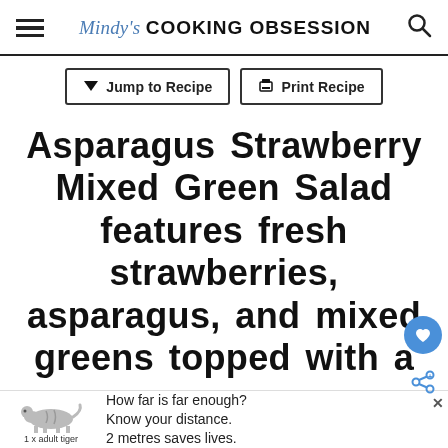Mindy's COOKING OBSESSION
Jump to Recipe | Print Recipe
Asparagus Strawberry Mixed Green Salad features fresh strawberries, asparagus, and mixed greens topped with a
[Figure (screenshot): Advertisement banner with tiger illustration: 'How far is far enough? Know your distance. 2 metres saves lives. 1 x adult tiger']